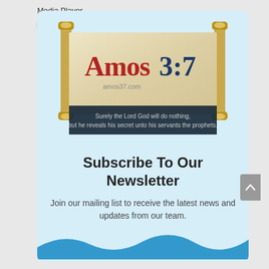Media Player
[Figure (logo): Amos 3:7 website logo showing a Torah scroll with text 'Amos3:7' and a dark banner beneath reading 'Surely the Lord God will do nothing, but he reveals his secret unto his servants the prophets.']
Subscribe To Our Newsletter
Join our mailing list to receive the latest news and updates from our team.